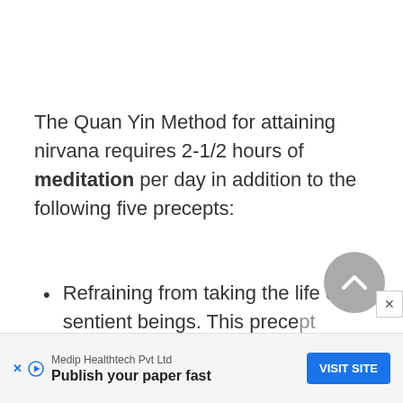The Quan Yin Method for attaining nirvana requires 2-1/2 hours of meditation per day in addition to the following five precepts:
Refraining from taking the life of any sentient beings. This precept requires strict adherence to a
[Figure (other): Scroll-to-top circular button with upward chevron arrow, gray background]
[Figure (other): Close/X button, small square with X symbol]
Medip Healthtech Pvt Ltd
Publish your paper fast
VISIT SITE